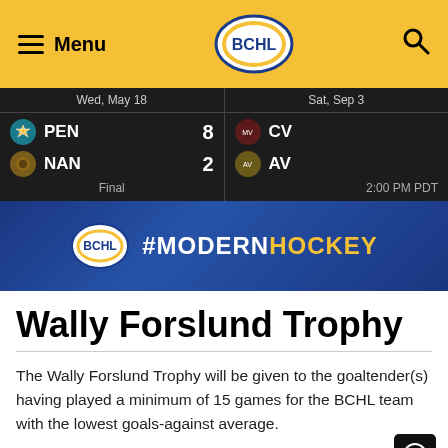Menu | BCHL | Search
| Wed, May 18 | Sat, Sep 3 |
| --- | --- |
| PEN 8 vs NAN 2 — Final | CV vs AV — 2:00 PM PDT |
[Figure (logo): BCHL #MODERNHOCKEY banner]
Wally Forslund Trophy
The Wally Forslund Trophy will be given to the goaltender(s) having played a minimum of 15 games for the BCHL team with the lowest goals-against average.
Past winners of the trophy are: